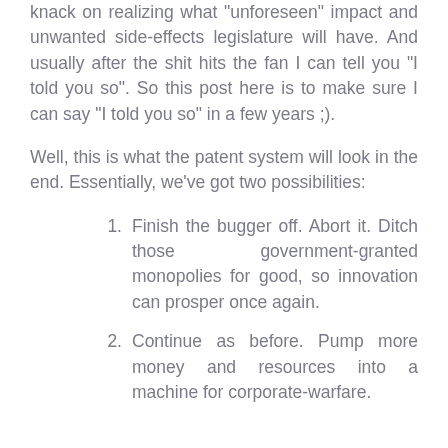knack on realizing what “unforeseen” impact and unwanted side-effects legislature will have. And usually after the shit hits the fan I can tell you “I told you so”. So this post here is to make sure I can say “I told you so” in a few years ;).
Well, this is what the patent system will look in the end. Essentially, we’ve got two possibilities:
Finish the bugger off. Abort it. Ditch those government-granted monopolies for good, so innovation can prosper once again.
Continue as before. Pump more money and resources into a machine for corporate-warfare.